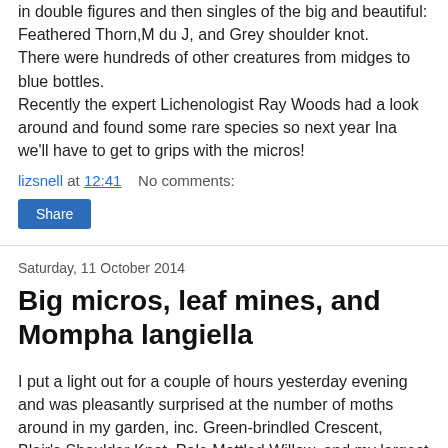in double figures and then singles of the big and beautiful: Feathered Thorn,M du J, and Grey shoulder knot.
There were hundreds of other creatures from midges to blue bottles.
Recently the expert Lichenologist Ray Woods had a look around and found some rare species so next year Ina we'll have to get to grips with the micros!
lizsnell at 12:41    No comments:
Share
Saturday, 11 October 2014
Big micros, leaf mines, and Mompha langiella
I put a light out for a couple of hours yesterday evening and was pleasantly surprised at the number of moths around in my garden, inc. Green-brindled Crescent, Blair's Shoulder Knot, Pale Mottled Willow, and my largest ever Blastobasis lacticolella at over 12mm long: